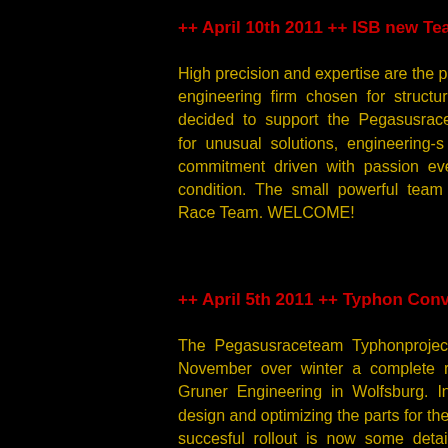++ April 10th 2011 ++ ISB new Teamsp
High precision and expertise are the pa engineering firm chosen for structura decided to support the Pegasusraceta for unusual solutions, engineering-s commitment driven with passion eve condition. The small powerful team fits Race Team. WELCOME!
++ April 5th 2011 ++ Typhon Conversio
The Pegasusraceteam Typhonproject November over winter a complete re- Gruner Engineering in Wolfsburg. In design and optimizing the parts for the succesful rollout is now some detai forward to start the toolingprocess for t and of April. Pricing for the 3 diffe